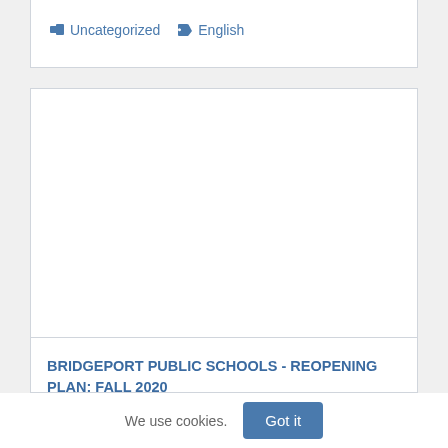Uncategorized  English
[Figure (screenshot): Document preview area showing a white blank/empty document thumbnail within a bordered card]
BRIDGEPORT PUBLIC SCHOOLS - REOPENING PLAN: FALL 2020 "WELCOME BACK BRIDGEPORT!" MICHAEL J. TESTANI SUPERINTENDENT OF SCHOOLS
We use cookies.  Got it